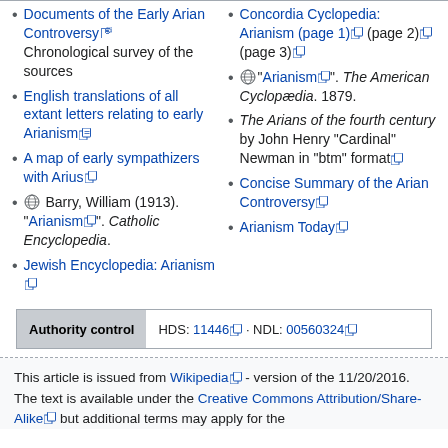Documents of the Early Arian Controversy – Chronological survey of the sources
English translations of all extant letters relating to early Arianism
A map of early sympathizers with Arius
Barry, William (1913). "Arianism". Catholic Encyclopedia.
Jewish Encyclopedia: Arianism
Concordia Cyclopedia: Arianism (page 1) (page 2) (page 3)
"Arianism". The American Cyclopædia. 1879.
The Arians of the fourth century by John Henry "Cardinal" Newman in "btm" format
Concise Summary of the Arian Controversy
Arianism Today
| Authority control | HDS: 11446 · NDL: 00560324 |
| --- | --- |
This article is issued from Wikipedia - version of the 11/20/2016. The text is available under the Creative Commons Attribution/Share-Alike but additional terms may apply for the